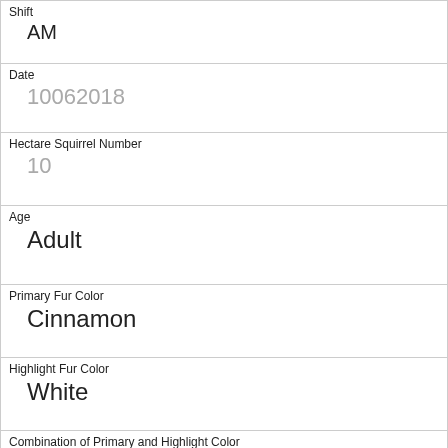| Shift | AM |
| Date | 10062018 |
| Hectare Squirrel Number | 10 |
| Age | Adult |
| Primary Fur Color | Cinnamon |
| Highlight Fur Color | White |
| Combination of Primary and Highlight Color | Cinnamon+White |
| Color notes |  |
| Location | Above Ground |
| Above Ground Sighter Measurement | 6 |
| Specific Location |  |